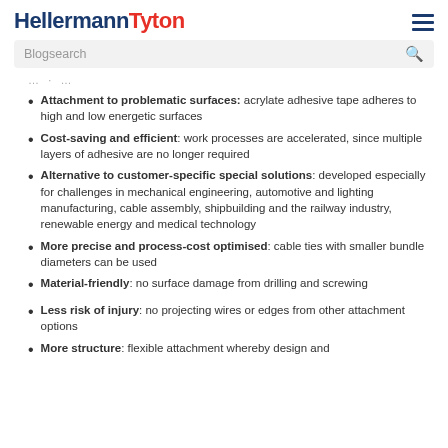HellermannTyton
Attachment to problematic surfaces: acrylate adhesive tape adheres to high and low energetic surfaces
Cost-saving and efficient: work processes are accelerated, since multiple layers of adhesive are no longer required
Alternative to customer-specific special solutions: developed especially for challenges in mechanical engineering, automotive and lighting manufacturing, cable assembly, shipbuilding and the railway industry, renewable energy and medical technology
More precise and process-cost optimised: cable ties with smaller bundle diameters can be used
Material-friendly: no surface damage from drilling and screwing
Less risk of injury: no projecting wires or edges from other attachment options
More structure: flexible attachment whereby design and